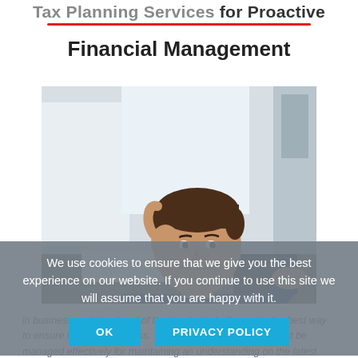Tax Planning Services for Proactive
Financial Management
[Figure (photo): A young man in a dark blue shirt sitting at a desk, hand on his forehead, looking down at open documents/papers. A tablet is visible on the desk. Office/home setting with window in background.]
We use cookies to ensure that we give you the best experience on our website. If you continue to use this site we will assume that you are happy with it.
OK   PRIVACY POLICY
in business, getting ahead of the toughest challenges is the best way to ensure long-term success. Your company's financials must be managed effectively for maintaining an understanding on the latest regulations, and...